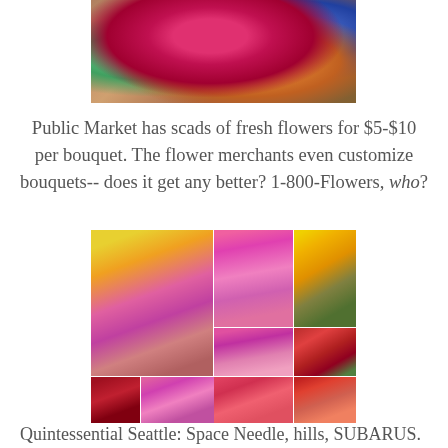[Figure (photo): Close-up photo of colorful stuffed animal toys at Pike Place Public Market, including a pink/red character in striped outfit]
Public Market has scads of fresh flowers for $5-$10 per bouquet. The flower merchants even customize bouquets-- does it get any better? 1-800-Flowers, who?
[Figure (photo): Collage of fresh flower photos showing yellow and pink mixed bouquets, pink lilies, sunflowers, and red/pink floral arrangements]
Quintessential Seattle: Space Needle, hills, SUBARUS.